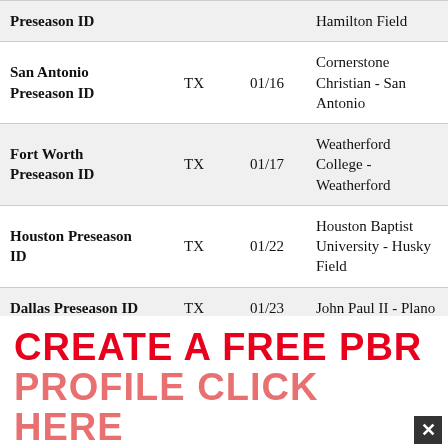| Event | State | Date | Venue |
| --- | --- | --- | --- |
| Preseason ID |  |  | Hamilton Field |
| San Antonio Preseason ID | TX | 01/16 | Cornerstone Christian - San Antonio |
| Fort Worth Preseason ID | TX | 01/17 | Weatherford College - Weatherford |
| Houston Preseason ID | TX | 01/22 | Houston Baptist University - Husky Field |
| Dallas Preseason ID | TX | 01/23 | John Paul II - Plano |
CREATE A FREE PBR PROFILE CLICK HERE